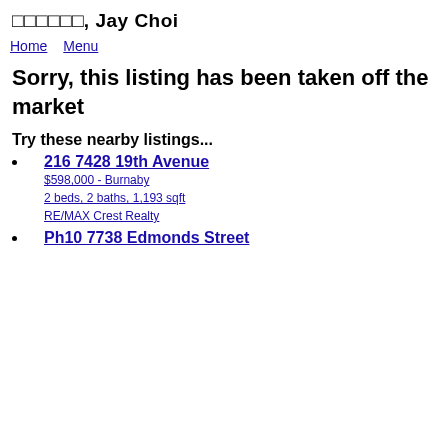□□□□□□, Jay Choi
Home   Menu
Sorry, this listing has been taken off the market
Try these nearby listings...
216 7428 19th Avenue
$598,000 - Burnaby
2 beds, 2 baths, 1,193 sqft
RE/MAX Crest Realty
Ph10 7738 Edmonds Street